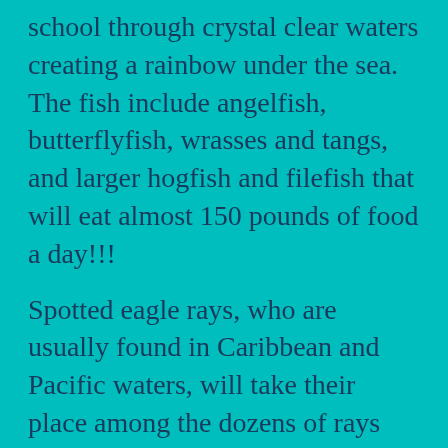school through crystal clear waters creating a rainbow under the sea. The fish include angelfish, butterflyfish, wrasses and tangs, and larger hogfish and filefish that will eat almost 150 pounds of food a day!!!
Spotted eagle rays, who are usually found in Caribbean and Pacific waters, will take their place among the dozens of rays who will call the reef home.
[youtube=http://www.youtube.com/watch?v=-Nb5tiaIgCE]
The...